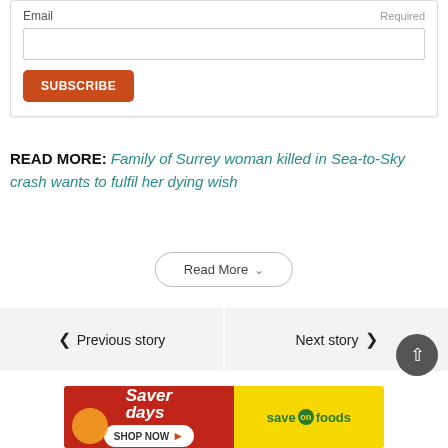Email / Required
SUBSCRIBE
READ MORE: Family of Surrey woman killed in Sea-to-Sky crash wants to fulfil her dying wish
Read More
Previous story
Next story
[Figure (other): Saver Days / Save On Foods advertisement banner]